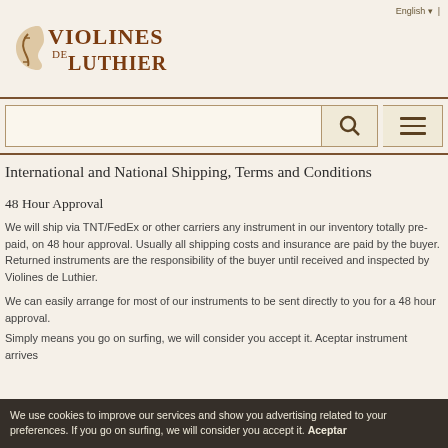English |
[Figure (logo): Violines de Luthier logo with stylized violin scroll and text]
[Figure (screenshot): Search bar with search button (magnifying glass) and menu button (hamburger icon)]
International and National Shipping, Terms and Conditions
48 Hour Approval
We will ship via TNT/FedEx or other carriers any instrument in our inventory totally pre-paid, on 48 hour approval. Usually all shipping costs and insurance are paid by the buyer. Returned instruments are the responsibility of the buyer until received and inspected by Violines de Luthier.
We can easily arrange for most of our instruments to be sent directly to you for a 48 hour approval.
Simply means you go on surfing, we will consider you accept it. Aceptar instrument arrives
We use cookies to improve our services and show you advertising related to your preferences. If you go on surfing, we will consider you accept it. Aceptar